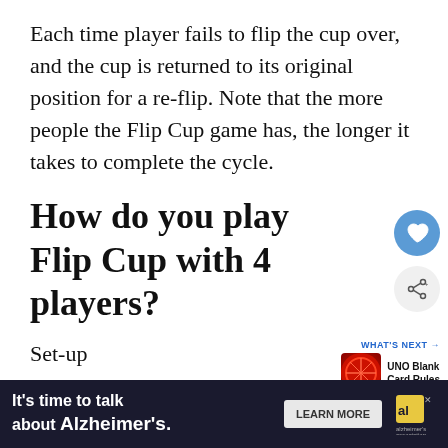Each time player fails to flip the cup over, and the cup is returned to its original position for a re-flip. Note that the more people the Flip Cup game has, the longer it takes to complete the cycle.
How do you play Flip Cup with 4 players?
Set-up
Four players
[Figure (other): Floating action buttons: heart/like button (blue circle) and share button (light gray circle with share icon)]
[Figure (other): What's Next promo card showing a UNO card image with text 'WHAT'S NEXT → UNO Blank Card Rules']
[Figure (other): Advertisement banner: dark background with text 'It's time to talk about Alzheimer's.' LEARN MORE button and Alzheimer's Association logo]